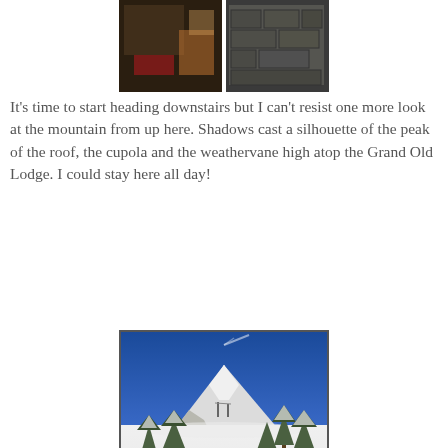[Figure (photo): Two-panel interior/exterior photo of what appears to be a lodge, partially visible at the top of the page.]
It's time to start heading downstairs but I can't resist one more look at the mountain from up here.  Shadows cast a silhouette of the peak of the roof, the cupola and the weathervane high atop the Grand Old Lodge.  I could stay here all day!
[Figure (photo): Photograph of a snow-covered mountain (likely Mount Hood) under a deep blue sky, with snow-covered evergreen trees in the foreground and a shadow of a cupola/weathervane silhouette cast on the snow in the lower portion of the image.]